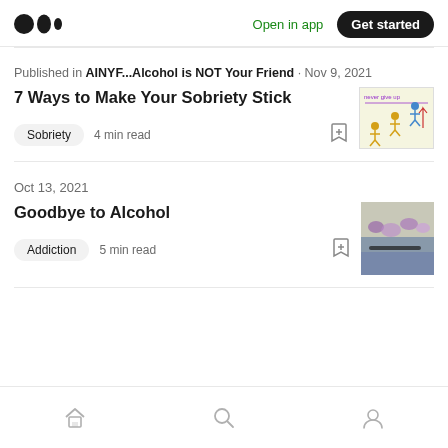Medium logo | Open in app | Get started
Published in AINYF...Alcohol is NOT Your Friend · Nov 9, 2021
7 Ways to Make Your Sobriety Stick
Sobriety  4 min read
Oct 13, 2021
Goodbye to Alcohol
Addiction  5 min read
Home | Search | Profile